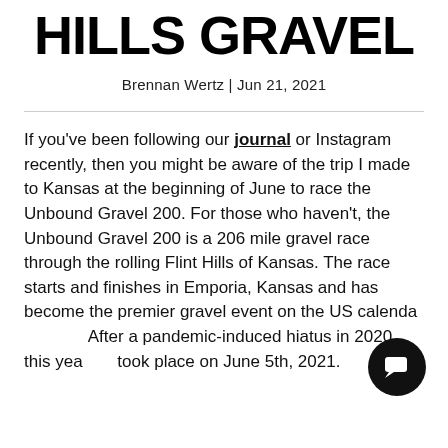HILLS GRAVEL
Brennan Wertz | Jun 21, 2021
If you've been following our journal or Instagram recently, then you might be aware of the trip I made to Kansas at the beginning of June to race the Unbound Gravel 200. For those who haven't, the Unbound Gravel 200 is a 206 mile gravel race through the rolling Flint Hills of Kansas. The race starts and finishes in Emporia, Kansas and has become the premier gravel event on the US calendar. After a pandemic-induced hiatus in 2020, this year's took place on June 5th, 2021.